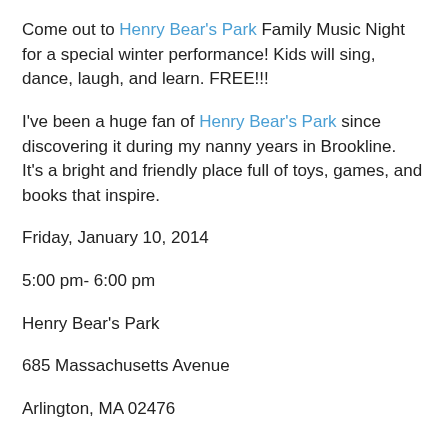Come out to Henry Bear's Park Family Music Night for a special winter performance! Kids will sing, dance, laugh, and learn. FREE!!!
I've been a huge fan of Henry Bear's Park since discovering it during my nanny years in Brookline.  It's a bright and friendly place full of toys, games, and books that inspire.
Friday, January 10, 2014
5:00 pm- 6:00 pm
Henry Bear's Park
685 Massachusetts Avenue
Arlington, MA 02476